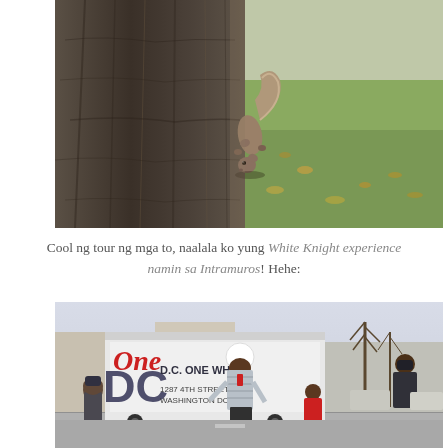[Figure (photo): A squirrel climbing down a tree trunk headfirst, with a grassy background and fallen leaves. The tree bark is textured and dark. The setting appears to be a park in autumn or winter.]
Cool ng tour ng mga to, naalala ko yung White Knight experience namin sa Intramuros! Hehe:
[Figure (photo): A group of people standing on a street in Washington D.C. A man wearing a white helmet and striped jacket is in the center, holding something. A DC One Wheel bus/van is visible in the background with the address 1287 4th Street NE, Washington DC 20002. Other people including a child in a red jacket are visible around him.]